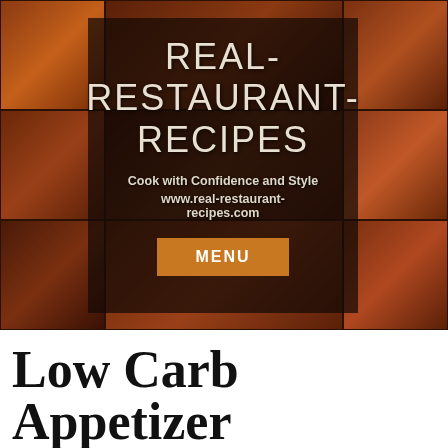[Figure (photo): Collage of restaurant food photos (ribs, pasta, beer, pizza, grilled meats) arranged in a 3x3 grid behind a semi-transparent dark overlay box. The overlay contains the website logo text 'REAL-RESTAURANT-RECIPES', tagline 'Cook with Confidence and Style', URL 'www.real-restaurant-recipes.com', and an orange MENU button.]
Low Carb Appetizer